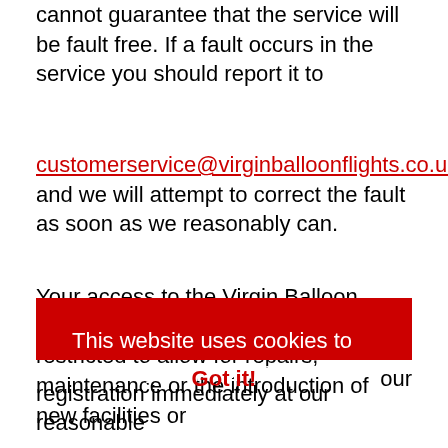cannot guarantee that the service will be fault free. If a fault occurs in the service you should report it to
customerservice@virginballoonflights.co.uk and we will attempt to correct the fault as soon as we reasonably can.
Your access to the Virgin Balloon Flights site may be occasionally restricted to allow for repairs, maintenance or the introduction of new facilities or
This website uses cookies to ensure you get the best experience on our website. Learn More
Got it!
registration immediately at our reasonable